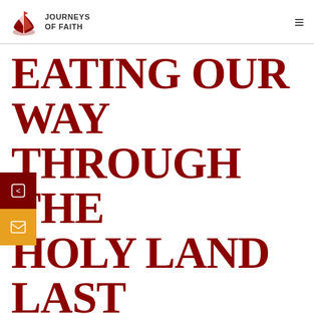Journeys of Faith
EATING OUR WAY THROUGH THE HOLY LAND LAST SUPPER & MORE
Get Brochure
April 03, 2020 - April 13, 2020
10 days
Booking deadline: April 03, 2020